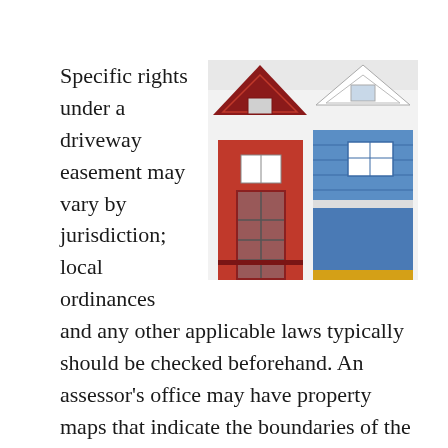[Figure (photo): Two narrow Victorian-style row houses side by side: one red on the left and one blue on the right, each with a decorative pointed dormer window and a small front window, photographed from street level.]
Specific rights under a driveway easement may vary by jurisdiction; local ordinances and any other applicable laws typically should be checked beforehand. An assessor's office may have property maps that indicate the boundaries of the easement, along with any other easements on the property. In some cases, a property owner may give verbal permission or a license for driveway use and this is considered less binding than an easement. Licenses can be changed or terminated